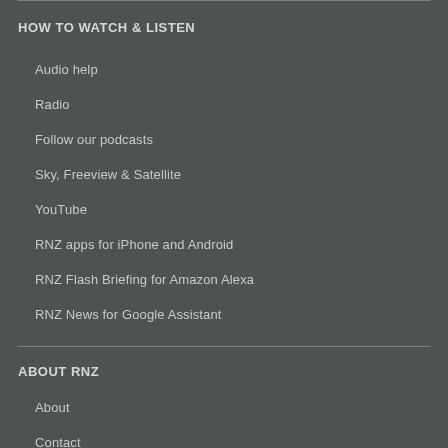HOW TO WATCH & LISTEN
Audio help
Radio
Follow our podcasts
Sky, Freeview & Satellite
YouTube
RNZ apps for iPhone and Android
RNZ Flash Briefing for Amazon Alexa
RNZ News for Google Assistant
ABOUT RNZ
About
Contact